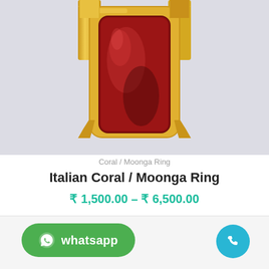[Figure (photo): Close-up photo of an Italian Coral / Moonga ring with a deep red/maroon oval coral gemstone set in a gold band with decorative gold prongs, photographed on a white/light gray background.]
Coral / Moonga Ring
Italian Coral / Moonga Ring
₹ 1,500.00 – ₹ 6,500.00
[Figure (screenshot): Bottom action bar with a green WhatsApp button on the left and a cyan/teal phone call circular button on the right.]